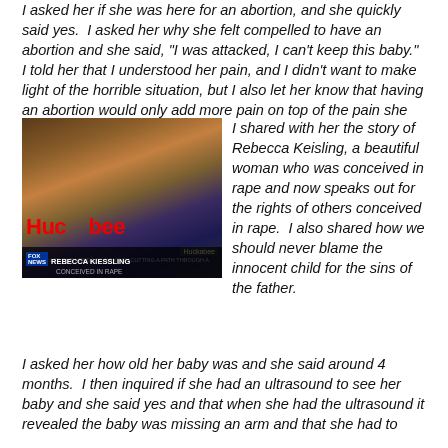I asked her if she was here for an abortion, and she quickly said yes.  I asked her why she felt compelled to have an abortion and she said, "I was attacked, I can't keep this baby."  I told her that I understood her pain, and I didn't want to make light of the horrible situation, but I also let her know that having an abortion would only add more pain on top of the pain she was experiencing now.
[Figure (photo): Fox News screenshot from the show Huckabee featuring Rebecca Kiessling, labeled 'CONCEIVED IN RAPE', with a lower ticker bar.]
I shared with her the story of Rebecca Keisling, a beautiful woman who was conceived in rape and now speaks out for the rights of others conceived in rape.  I also shared how we should never blame the innocent child for the sins of the father.
I asked her how old her baby was and she said around 4 months.  I then inquired if she had an ultrasound to see her baby and she said yes and that when she had the ultrasound it revealed the baby was missing an arm and that she had to